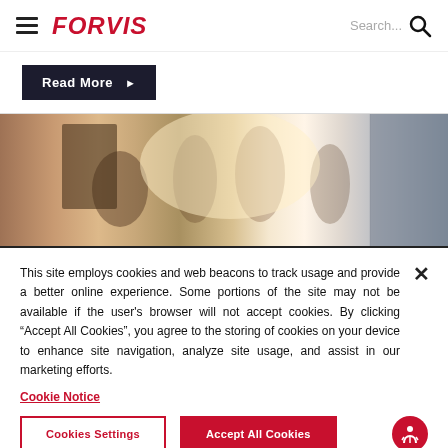FORVIS — Search
[Figure (screenshot): Read More button on dark background]
[Figure (photo): Blurred business people shaking hands in a bright office setting]
This site employs cookies and web beacons to track usage and provide a better online experience. Some portions of the site may not be available if the user's browser will not accept cookies. By clicking "Accept All Cookies", you agree to the storing of cookies on your device to enhance site navigation, analyze site usage, and assist in our marketing efforts.
Cookie Notice
Cookies Settings
Accept All Cookies